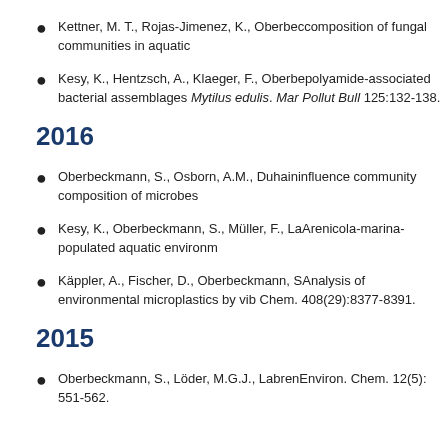Kettner, M. T., Rojas-Jimenez, K., Oberbe... composition of fungal communities in aquatic...
Kesy, K., Hentzsch, A., Klaeger, F., Oberbe... polyamide-associated bacterial assemblages ... Mytilus edulis. Mar Pollut Bull 125:132-138.
2016
Oberbeckmann, S., Osborn, A.M., Duhain... influence community composition of microbes...
Kesy, K., Oberbeckmann, S., Müller, F., La... Arenicola-marina-populated aquatic environm...
Käppler, A., Fischer, D., Oberbeckmann, S... Analysis of environmental microplastics by vib... Chem. 408(29):8377-8391.
2015
Oberbeckmann, S., Löder, M.G.J., Labren... Environ. Chem. 12(5): 551-562.